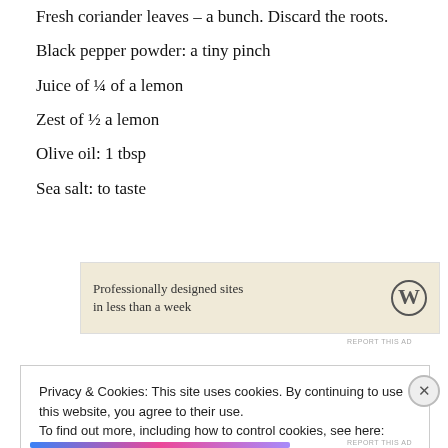Fresh coriander leaves – a bunch. Discard the roots.
Black pepper powder: a tiny pinch
Juice of ¼ of a lemon
Zest of ½ a lemon
Olive oil: 1 tbsp
Sea salt: to taste
[Figure (other): WordPress advertisement banner: 'Professionally designed sites in less than a week' with WordPress logo]
Privacy & Cookies: This site uses cookies. By continuing to use this website, you agree to their use.
To find out more, including how to control cookies, see here: Cookie Policy
Close and accept